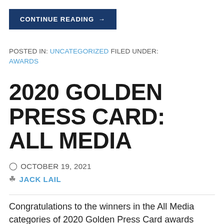CONTINUE READING →
POSTED IN: UNCATEGORIZED FILED UNDER: AWARDS
2020 GOLDEN PRESS CARD: ALL MEDIA
OCTOBER 19, 2021
JACK LAIL
Congratulations to the winners in the All Media categories of 2020 Golden Press Card awards